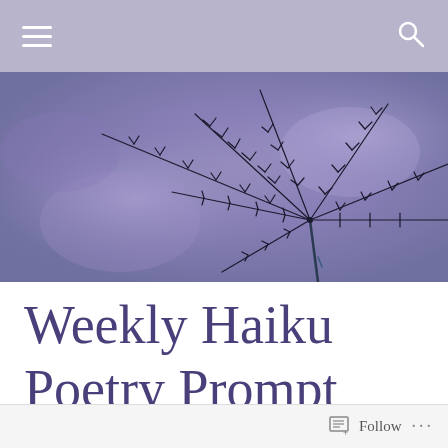Weekly Haiku Poetry Prompt — Navigation bar with hamburger menu and search icon
[Figure (photo): Close-up photo of a dandelion seed or feathery plant stem against a soft purple/lavender blurred background]
Weekly Haiku Poetry Prompt
Follow  ...